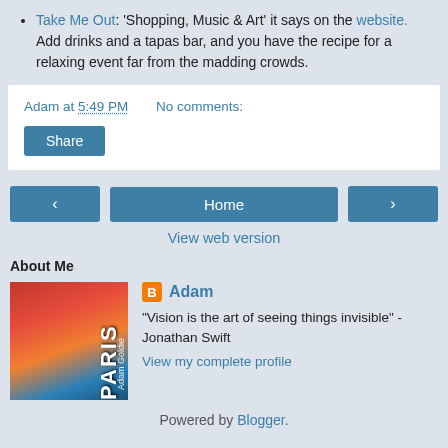Take Me Out: 'Shopping, Music & Art' it says on the website. Add drinks and a tapas bar, and you have the recipe for a relaxing event far from the madding crowds.
Adam at 5:49 PM   No comments:
Share
‹   Home   ›
View web version
About Me
[Figure (photo): Book cover for a Paris travel guide with red, orange and blue gradient colors with the word PARIS vertically printed]
Adam — "Vision is the art of seeing things invisible" - Jonathan Swift
View my complete profile
Powered by Blogger.